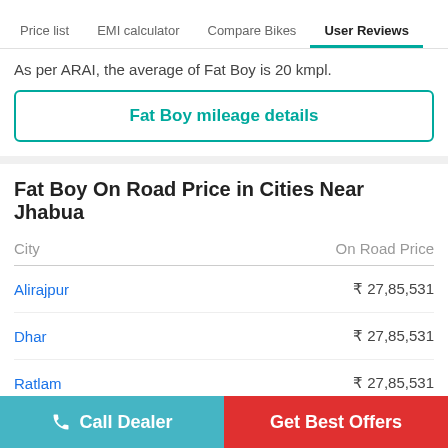Price list | EMI calculator | Compare Bikes | User Reviews
As per ARAI, the average of Fat Boy is 20 kmpl.
Fat Boy mileage details
Fat Boy On Road Price in Cities Near Jhabua
| City | On Road Price |
| --- | --- |
| Alirajpur | ₹ 27,85,531 |
| Dhar | ₹ 27,85,531 |
| Ratlam | ₹ 27,85,531 |
| Badnagar | ₹ 27,85,531 |
Call Dealer | Get Best Offers